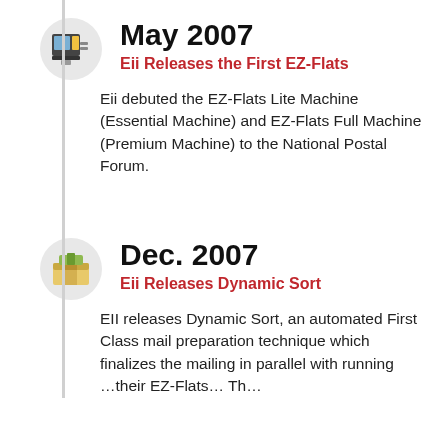May 2007
Eii Releases the First EZ-Flats
Eii debuted the EZ-Flats Lite Machine (Essential Machine) and EZ-Flats Full Machine (Premium Machine) to the National Postal Forum.
Dec. 2007
Eii Releases Dynamic Sort
EII releases Dynamic Sort, an automated First Class mail preparation technique which finalizes the mailing in parallel with running … their EZ-Flats… Th…